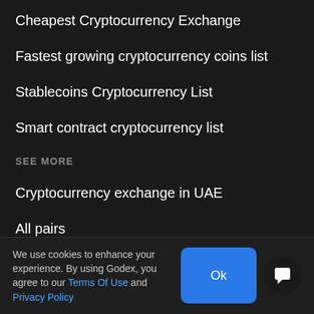Cheapest Cryptocurrency Exchange
Fastest growing cryptocurrency coins list
Stablecoins Cryptocurrency List
Smart contract cryptocurrency list
SEE MORE
Cryptocurrency exchange in UAE
All pairs
Versus pairs
Best new cryptocurrencies 2022
Sitemap
We use cookies to enhance your experience. By using Godex, you agree to our Terms Of Use and Privacy Policy